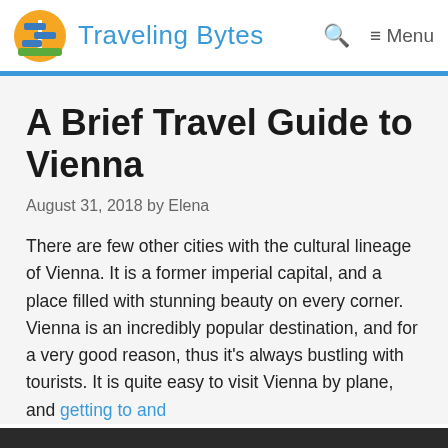Traveling Bytes
A Brief Travel Guide to Vienna
August 31, 2018 by Elena
There are few other cities with the cultural lineage of Vienna. It is a former imperial capital, and a place filled with stunning beauty on every corner. Vienna is an incredibly popular destination, and for a very good reason, thus it's always bustling with tourists. It is quite easy to visit Vienna by plane, and getting to and